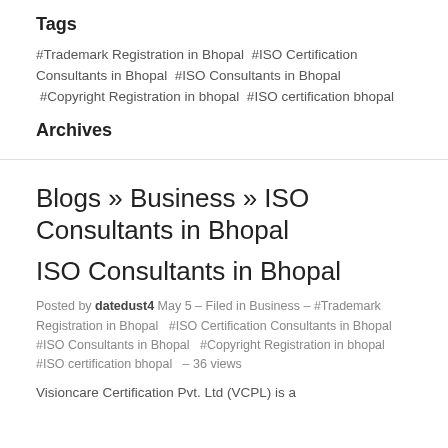Tags
#Trademark Registration in Bhopal #ISO Certification Consultants in Bhopal #ISO Consultants in Bhopal #Copyright Registration in bhopal #ISO certification bhopal
Archives
Blogs » Business » ISO Consultants in Bhopal
ISO Consultants in Bhopal
Posted by datedust4 May 5 – Filed in Business – #Trademark Registration in Bhopal  #ISO Certification Consultants in Bhopal  #ISO Consultants in Bhopal  #Copyright Registration in bhopal  #ISO certification bhopal  – 36 views
Visioncare Certification Pvt. Ltd (VCPL) is a